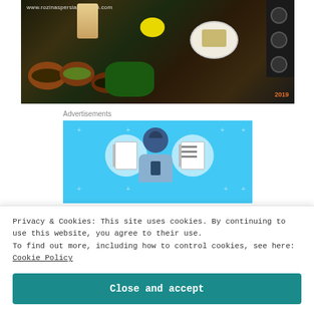[Figure (photo): Photo of Persian kitchen ingredients including bowls of spices, lemon, greens, a white plate, and a jar, with a stove on the right. URL watermark: www.rozinaspersiankitchen.com. Date stamp: 2019.]
Advertisements
[Figure (illustration): Advertisement banner with light blue background showing a person holding a phone, flanked by two circular icons containing notebook illustrations, with decorative plus/star symbols.]
Privacy & Cookies: This site uses cookies. By continuing to use this website, you agree to their use.
To find out more, including how to control cookies, see here: Cookie Policy
Close and accept